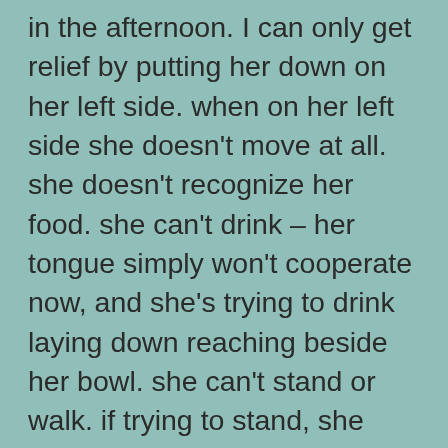in the afternoon. I can only get relief by putting her down on her left side. when on her left side she doesn't move at all. she doesn't recognize her food. she can't drink – her tongue simply won't cooperate now, and she's trying to drink laying down reaching beside her bowl. she can't stand or walk. if trying to stand, she spins around in a tiny circle. her eyes are flickering… this is really bad, and my husband and I inform our 3 kids at night, that we might have to put her down the next day… everybody's in tears.
late at night my husband carries fiona outside